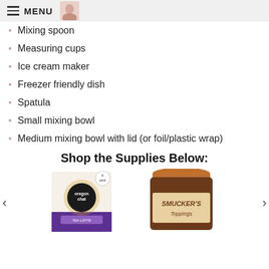MENU
Mixing spoon
Measuring cups
Ice cream maker
Freezer friendly dish
Spatula
Small mixing bowl
Medium mixing bowl with lid (or foil/plastic wrap)
Shop the Supplies Below:
[Figure (photo): Oregon Chai tea latte mix box, 6-pack]
[Figure (photo): Smucker's Toppings Caramel jar]